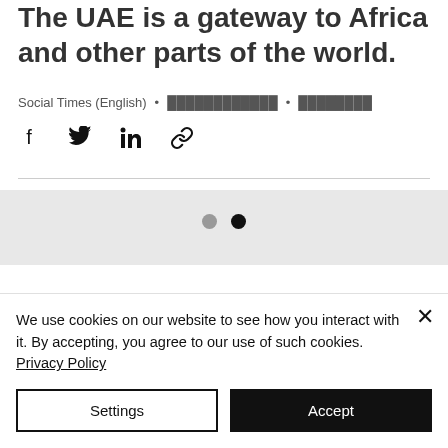The UAE is a gateway to Africa and other parts of the world.
Social Times (English) • ████████████ • ████████
[Figure (infographic): Share icons row: Facebook, Twitter, LinkedIn, link/chain icon]
[Figure (infographic): Carousel pagination dots: one gray dot and one black dot]
We use cookies on our website to see how you interact with it. By accepting, you agree to our use of such cookies. Privacy Policy
Settings | Accept